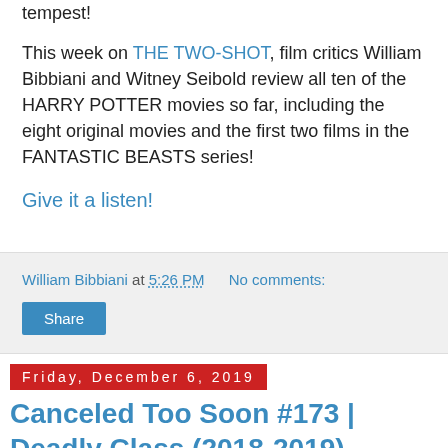tempest!
This week on THE TWO-SHOT, film critics William Bibbiani and Witney Seibold review all ten of the HARRY POTTER movies so far, including the eight original movies and the first two films in the FANTASTIC BEASTS series!
Give it a listen!
William Bibbiani at 5:26 PM   No comments:
Share
Friday, December 6, 2019
Canceled Too Soon #173 | Deadly Class (2018-2019)